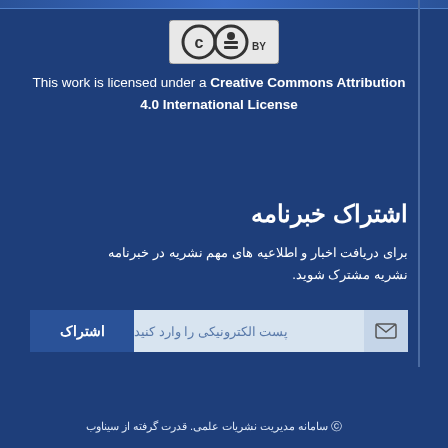[Figure (logo): Creative Commons Attribution (CC BY) license logo with two circles: CC and BY symbols on light gray background]
This work is licensed under a Creative Commons Attribution 4.0 International License
اشتراک خبرنامه
برای دریافت اخبار و اطلاعیه های مهم نشریه در خبرنامه نشریه مشترک شوید.
[Figure (other): Newsletter subscription form with blue 'اشتراک' (Subscribe) button on left, email input field in center with placeholder text 'پست الکترونیکی را وارد کنید', and envelope icon on right]
© سامانه مدیریت نشریات علمی. قدرت گرفته از سیناوب